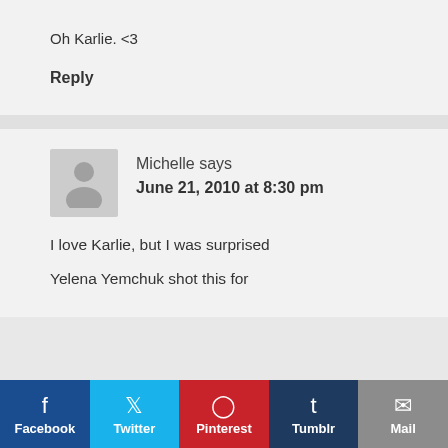Oh Karlie. <3
Reply
Michelle says
June 21, 2010 at 8:30 pm
I love Karlie, but I was surprised Yelena Yemchuk shot this for